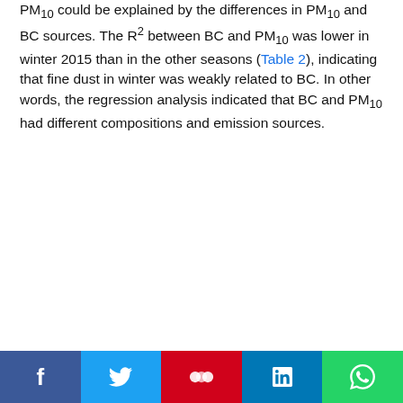PM10 could be explained by the differences in PM10 and BC sources. The R² between BC and PM10 was lower in winter 2015 than in the other seasons (Table 2), indicating that fine dust in winter was weakly related to BC. In other words, the regression analysis indicated that BC and PM10 had different compositions and emission sources.
[Figure (continuous-plot): Two rows (a) and (b) of scatter plots with regression lines. Row (a): PM10 Concentration (μg/m³) vs BC Concentration (μg/m³) for 2015 Fall, 2015 Winter, 2016 Spring. Row (b): PM2.5 Concentration (μg/m³) vs BC Concentration (μg/m³) for 2015 Fall, 2015 Winter, 2016 Spring. Each plot has red cross scatter points and a blue linear regression line. Y-axis 0-300, X-axis 0-12.]